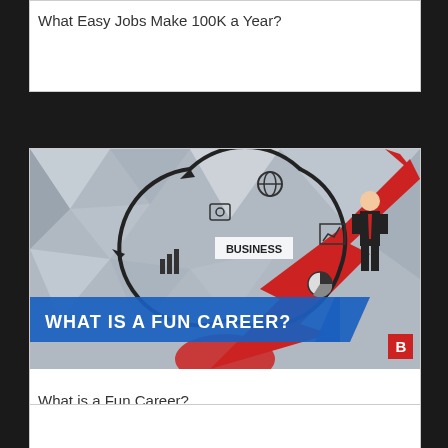What Easy Jobs Make 100K a Year?
[Figure (screenshot): Thumbnail image with business icons in a circular arrow arrangement, a man in a suit standing on a large red upward arrow, with blue banner text reading WHAT IS A FUN CAREER? and a red B logo in corner]
What is a Fun Career?